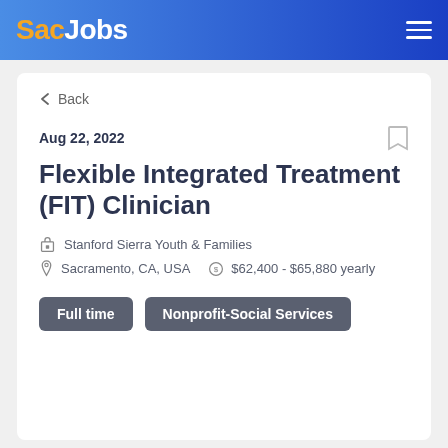SacJobs
< Back
Aug 22, 2022
Flexible Integrated Treatment (FIT) Clinician
Stanford Sierra Youth & Families
Sacramento, CA, USA   $62,400 - $65,880 yearly
Full time
Nonprofit-Social Services